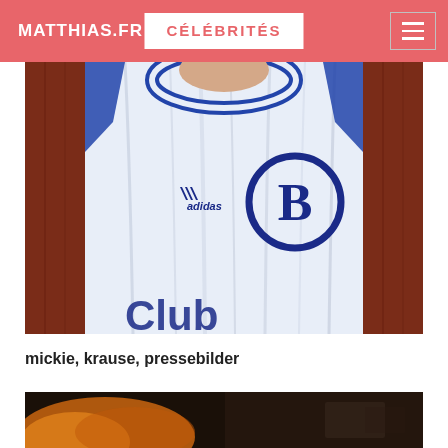MATTHIAS.FR | CÉLÉBRITÉS
[Figure (photo): Close-up photo of a person wearing a white Adidas football jersey with blue collar and a Club Brugge (B) logo on the chest]
mickie, krause, pressebilder
[Figure (photo): Partial bottom photo showing a dark background with warm orange/amber light tones]